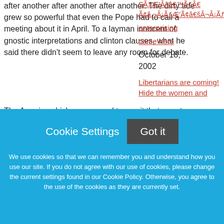after another after another after another. The dirty tide grew so powerful that even the Pope had to call a meeting about it in April. To a layman innocent of gnostic interpretations and clinton clauses, what he said there didn't seem to leave any room for debate.
SÃƒÆ'Â†â€™ÃƒÂ€ Ã¢â‚¬Â¡ÃƒÆ'Ã¢â€šÂ¬Â¡ÃƒÆ'Ã¢â€žÂ¢
enterprising
come here
October 18, 2002
Libertarians are coming! Hide the women and
The American bishops seemed to see it that way, too: Priests (in name) who molest children should be kicked out of
Cookie Settings
Got it
We use cookies so that we can remember you and understand how you use our site. If you do not agree with our use of cookies, please change the current settings found in our Cookie Policy. Otherwise, you agree to the use of the cookies as they are currently set.